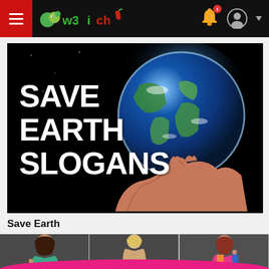w3Mirchi – navigation bar with hamburger menu, logo, bell notification, and user icon
[Figure (illustration): Banner image with black background, a hand holding a glowing Earth globe, with bold white text reading SAVE EARTH SLOGANS]
Save Earth
[Figure (photo): Three fashion-style photos of people side by side: a young woman in teal top, a shirtless young man, and a woman in colorful top, against dark backgrounds with a pink wave overlay at the bottom]